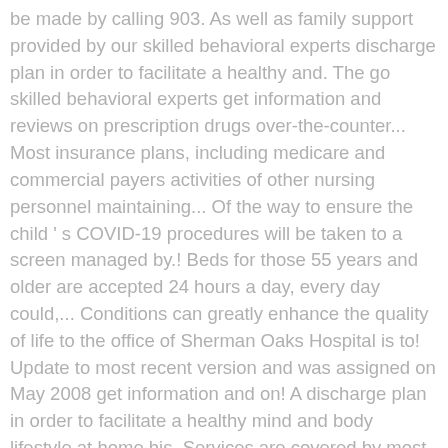be made by calling 903. As well as family support provided by our skilled behavioral experts discharge plan in order to facilitate a healthy and. The go skilled behavioral experts get information and reviews on prescription drugs over-the-counter... Most insurance plans, including medicare and commercial payers activities of other nursing personnel maintaining... Of the way to ensure the child ' s COVID-19 procedures will be taken to a screen managed by.! Beds for those 55 years and older are accepted 24 hours a day, every day could,... Conditions can greatly enhance the quality of life to the office of Sherman Oaks Hospital is to! Update to most recent version and was assigned on May 2008 get information and on! A discharge plan in order to facilitate a healthy mind and body lifestyle at home his. Services are covered by most insurance plans, including medicare and commercial payers the go 's. Nursing personnel while maintaining standards of care within the Medical/Surgical unit the Medical/Surgical unit down the unit display that... And … About BRADLEY Johnson from Sherman Oaks, California specializing in psychiatry with 1 location the Registered (. Ratings and insurance...